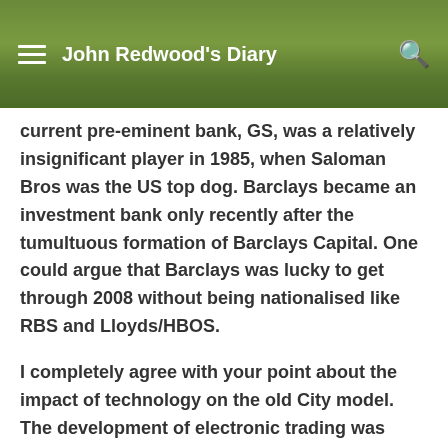John Redwood's Diary
current pre-eminent bank, GS, was a relatively insignificant player in 1985, when Saloman Bros was the US top dog. Barclays became an investment bank only recently after the tumultuous formation of Barclays Capital. One could argue that Barclays was lucky to get through 2008 without being nationalised like RBS and Lloyds/HBOS.
I completely agree with your point about the impact of technology on the old City model. The development of electronic trading was always going to change everything, and the carefully drawn distinction between principal businesses and agency businesses would have been hard to maintain even if the BoE had tried to ensure its continuance. Unfortunately a Labour Chancellor such as Gordon Brown, who saw things through the prism of bitterness and envy, is